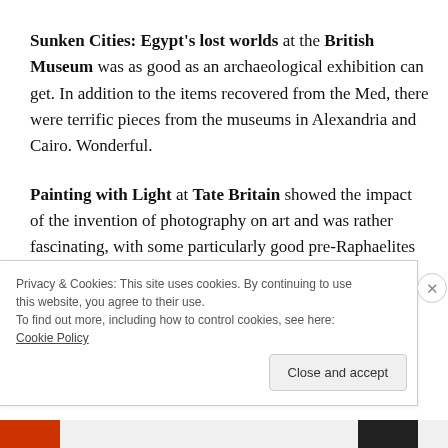Sunken Cities: Egypt's lost worlds at the British Museum was as good as an archaeological exhibition can get. In addition to the items recovered from the Med, there were terrific pieces from the museums in Alexandria and Cairo. Wonderful.
Painting with Light at Tate Britain showed the impact of the invention of photography on art and was rather fascinating, with some particularly good pre-Raphaelites
Privacy & Cookies: This site uses cookies. By continuing to use this website, you agree to their use.
To find out more, including how to control cookies, see here: Cookie Policy
Close and accept